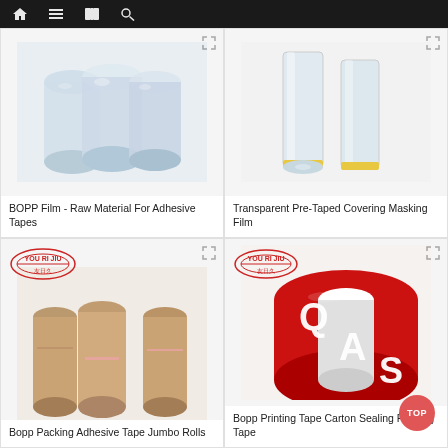Navigation bar with home, menu, book, and search icons
[Figure (photo): BOPP Film rolls - transparent plastic film rolls for adhesive tapes]
BOPP Film - Raw Material For Adhesive Tapes
[Figure (photo): Transparent Pre-Taped Covering Masking Film - clear and yellow tape rolls]
Transparent Pre-Taped Covering Masking Film
[Figure (photo): Bopp Packing Adhesive Tape jumbo rolls - large brown tape rolls with YouRiJiu logo]
Bopp Packing Adhesive Tape Jumbo Rolls
[Figure (photo): Bopp Printing Tape Carton Sealing Packing Tape - red tape roll with white QAS letters and YouRiJiu logo]
Bopp Printing Tape Carton Sealing Packing Tape